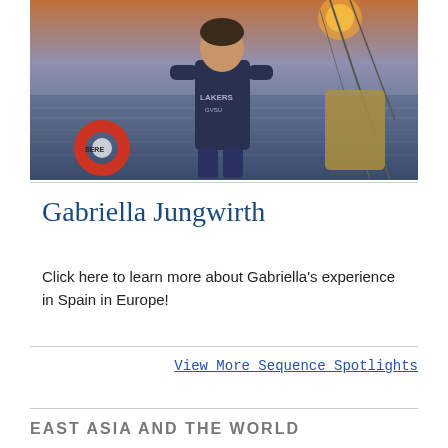[Figure (photo): Photo of Gabriella Jungwirth standing on a boat deck at sunset, wearing a dark blue LAKERS sweatshirt. An orange life preserver ring is visible on the left, and sailing rigging is visible to the right. The water and an orange-pink sunset sky are in the background.]
Gabriella Jungwirth
Click here to learn more about Gabriella's experience in Spain in Europe!
View More Sequence Spotlights
EAST ASIA AND THE WORLD